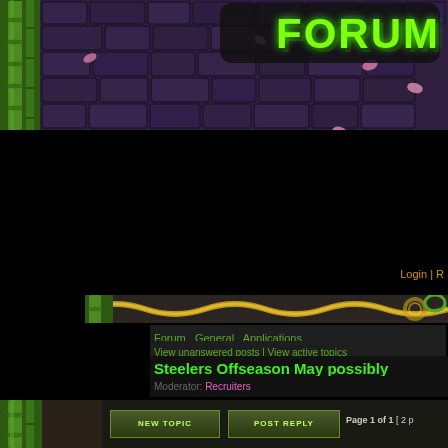[Figure (screenshot): Forum website header with bamboo on left, purple stone/brick background texture with pink flower petals, and green glowing FORUM text logo in upper right]
Login | R
[Figure (illustration): Sub-banner with yellow snake/serpent pattern on dark background]
Forum   General   Applications
View unanswered posts | View active topics
Steelers Offseason May possibly
Moderator: Recruiters
NEW TOPIC   POST REPLY   Page 1 of 1  [ 2 p